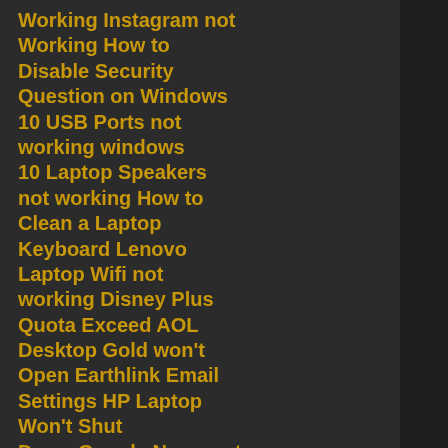Working Instagram not
Working How to Disable Security Question on Windows 10 USB Ports not working windows 10 Laptop Speakers not working How to Clean a Laptop Keyboard Lenovo Laptop Wifi not working Disney Plus Quota Exceed AOL Desktop Gold won't Open Earthlink Email Settings HP Laptop Won't Shut Down Google News not Working Netgear